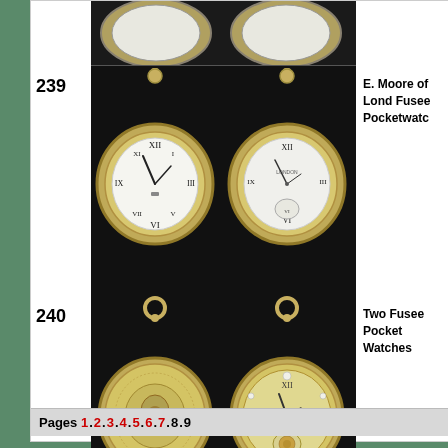[Figure (photo): Partial top view of pocket watches (cropped at top of page)]
239
[Figure (photo): Two fusee pocket watches with white enamel dials showing Roman numerals, gold/silver cases, lot 239]
E. Moore of Lond Fusee Pocketwatc
240
[Figure (photo): Two fusee pocket watches, one showing engraved back case and one showing ornate dial, lot 240]
Two Fusee Pocket Watches
Pages 1 . 2 . 3 . 4 . 5 . 6 . 7 . 8 . 9